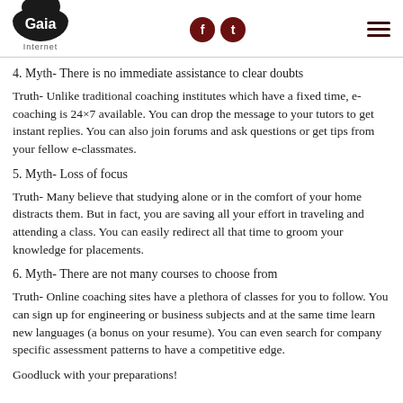Gaia Internet [logo] [social icons: f, t] [hamburger menu]
4. Myth- There is no immediate assistance to clear doubts
Truth- Unlike traditional coaching institutes which have a fixed time, e-coaching is 24×7 available. You can drop the message to your tutors to get instant replies. You can also join forums and ask questions or get tips from your fellow e-classmates.
5. Myth- Loss of focus
Truth- Many believe that studying alone or in the comfort of your home distracts them. But in fact, you are saving all your effort in traveling and attending a class. You can easily redirect all that time to groom your knowledge for placements.
6. Myth- There are not many courses to choose from
Truth- Online coaching sites have a plethora of classes for you to follow. You can sign up for engineering or business subjects and at the same time learn new languages (a bonus on your resume). You can even search for company specific assessment patterns to have a competitive edge.
Goodluck with your preparations!